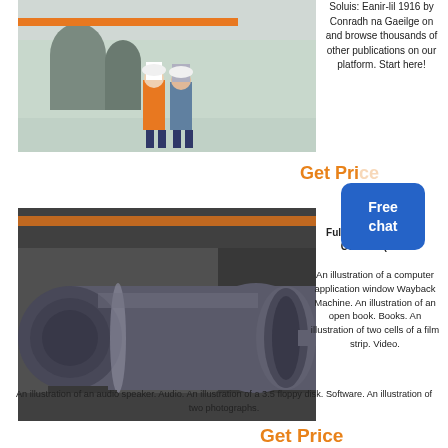[Figure (photo): Two workers in hard hats and safety vests standing in an industrial factory floor with large tanks and equipment in background.]
Soluis: Eanir-lil 1916 by Conradh na Gaeilge on and browse thousands of other publications on our platform. Start here!
Get Price
[Figure (other): Free chat button overlay - blue rounded rectangle with text 'Free chat']
[Figure (photo): Large industrial cylindrical mill or drum machine in a factory setting, dark gray colored, heavy machinery.]
Full text of The Daily Colonist (1930
An illustration of a computer application window Wayback Machine. An illustration of an open book. Books. An illustration of two cells of a film strip. Video.
An illustration of an audio speaker. Audio. An illustration of a 3.5 floppy disk. Software. An illustration of two photographs.
Get Price